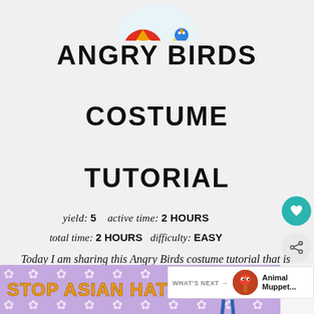[Figure (illustration): Circular cropped illustration of colorful Angry Birds characters at top center of page]
ANGRY BIRDS COSTUME TUTORIAL
yield: 5   active time: 2 HOURS   total time: 2 HOURS   difficulty: EASY
Today I am sharing this Angry Birds costume tutorial that is complete with free patterns! I freaking love how these costumes turned out
[Figure (illustration): What's Next panel - small round image of an Angry Bird character on a stick, with text 'Animal Muppet...']
[Figure (illustration): Advertisement banner at bottom: 'STOP ASIAN HATE' in orange text on purple background with flower decorations and a cartoon figure]